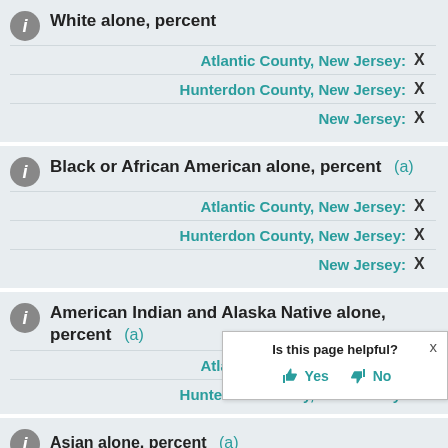White alone, percent
Atlantic County, New Jersey: X
Hunterdon County, New Jersey: X
New Jersey: X
Black or African American alone, percent (a)
Atlantic County, New Jersey: X
Hunterdon County, New Jersey: X
New Jersey: X
American Indian and Alaska Native alone, percent (a)
Atlantic County, New Jersey: X
Hunterdon County, New Jersey: X
Is this page helpful? Yes No
Asian alone, percent (a)